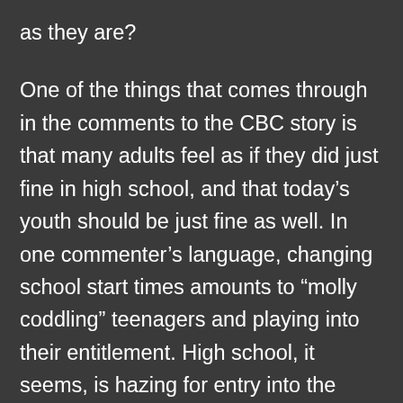as they are?
One of the things that comes through in the comments to the CBC story is that many adults feel as if they did just fine in high school, and that today's youth should be just fine as well. In one commenter's language, changing school start times amounts to “molly coddling” teenagers and playing into their entitlement. High school, it seems, is hazing for entry into the “real” world of adulthood, emblematized by work. While this is surely part of what school is intended to do – it models the demands of the workday with